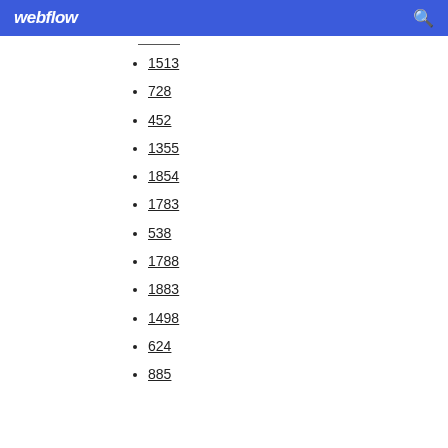webflow
1513
728
452
1355
1854
1783
538
1788
1883
1498
624
885